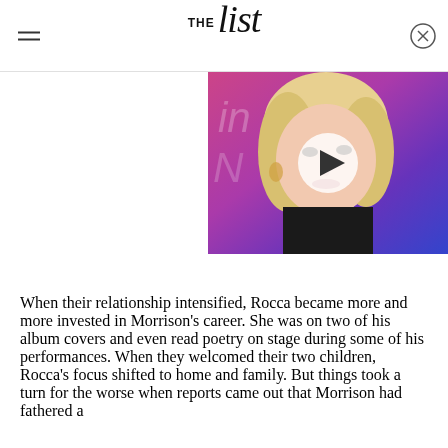THE list
[Figure (photo): A blonde woman at an event with a colorful background, with a play button overlay indicating a video thumbnail]
When their relationship intensified, Rocca became more and more invested in Morrison's career. She was on two of his album covers and even read poetry on stage during some of his performances. When they welcomed their two children, Rocca's focus shifted to home and family. But things took a turn for the worse when reports came out that Morrison had fathered a